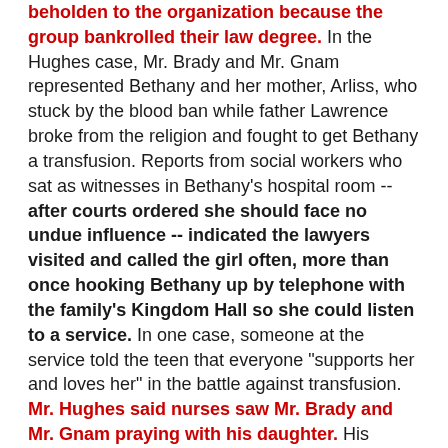beholden to the organization because the group bankrolled their law degree. In the Hughes case, Mr. Brady and Mr. Gnam represented Bethany and her mother, Arliss, who stuck by the blood ban while father Lawrence broke from the religion and fought to get Bethany a transfusion. Reports from social workers who sat as witnesses in Bethany's hospital room -- after courts ordered she should face no undue influence -- indicated the lawyers visited and called the girl often, more than once hooking Bethany up by telephone with the family's Kingdom Hall so she could listen to a service. In one case, someone at the service told the teen that everyone "supports her and loves her" in the battle against transfusion. Mr. Hughes said nurses saw Mr. Brady and Mr. Gnam praying with his daughter. His lawsuit charges that they and other Jehovah's Witnesses officials pressured